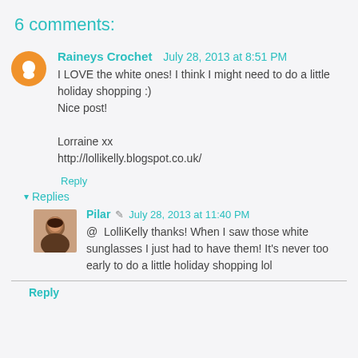6 comments:
Raineys Crochet  July 28, 2013 at 8:51 PM
I LOVE the white ones! I think I might need to do a little holiday shopping :)
Nice post!

Lorraine xx
http://lollikelly.blogspot.co.uk/
Reply
▾ Replies
Pilar  July 28, 2013 at 11:40 PM
@ LolliKelly thanks! When I saw those white sunglasses I just had to have them! It's never too early to do a little holiday shopping lol
Reply